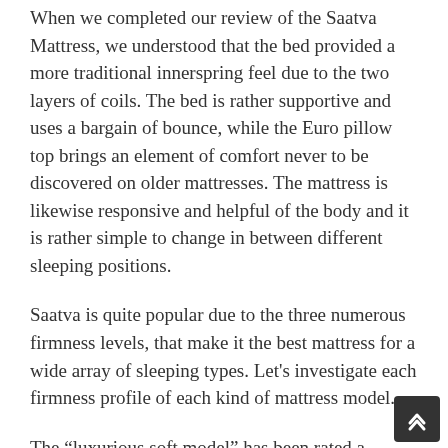When we completed our review of the Saatva Mattress, we understood that the bed provided a more traditional innerspring feel due to the two layers of coils. The bed is rather supportive and uses a bargain of bounce, while the Euro pillow top brings an element of comfort never to be discovered on older mattresses. The mattress is likewise responsive and helpful of the body and it is rather simple to change in between different sleeping positions.
Saatva is quite popular due to the three numerous firmness levels, that make it the best mattress for a wide array of sleeping types. Let's investigate each firmness profile of each kind of mattress model.
The “luxurious soft model” has been rated a medium. This mattress is soft to the touch and is able to provide good relief for shoulders and hips